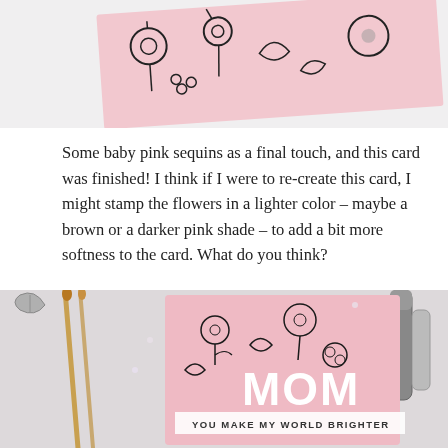[Figure (photo): Partial view of a handmade card with pink watercolor background and black floral stamp patterns, shown at an angle on a white surface.]
Some baby pink sequins as a final touch, and this card was finished! I think if I were to re-create this card, I might stamp the flowers in a lighter color – maybe a brown or a darker pink shade – to add a bit more softness to the card. What do you think?
[Figure (photo): Handmade card with pink watercolor background covered in black floral stamps, featuring large white letters spelling MOM and a banner reading YOU MAKE MY WORLD BRIGHTER. Surrounded by paintbrushes, markers, and craft supplies on a white surface.]